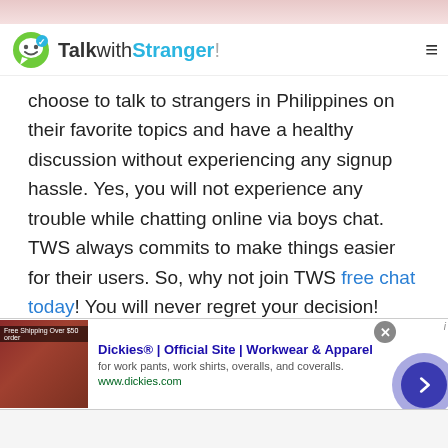TalkwithStranger!
choose to talk to strangers in Philippines on their favorite topics and have a healthy discussion without experiencing any signup hassle. Yes, you will not experience any trouble while chatting online via boys chat. TWS always commits to make things easier for their users. So, why not join TWS free chat today! You will never regret your decision!
Girls chat room
Do you love talking to girls online? Or looking for a